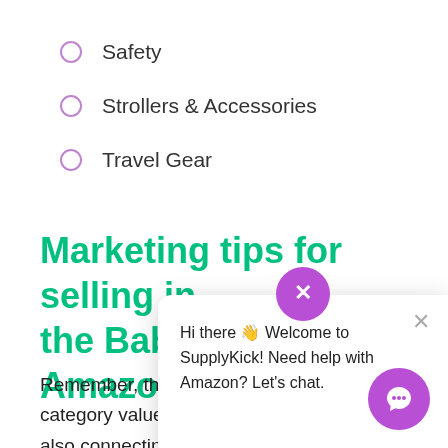Safety
Strollers & Accessories
Travel Gear
Marketing tips for selling in the Baby category on Amazon
Remember, those making purchases in the Baby category value efficiency and convenience, while also connecting with the product story and trust the quality of the product for their baby or